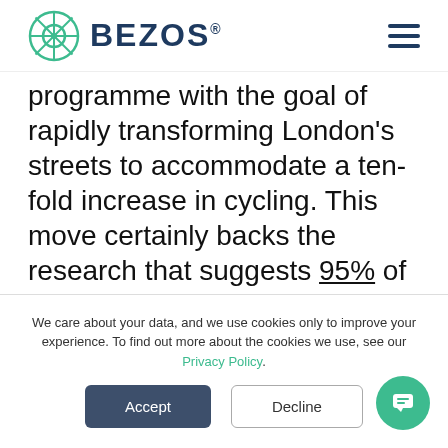BEZOS® [navigation bar with logo and hamburger menu]
programme with the goal of rapidly transforming London's streets to accommodate a ten-fold increase in cycling. This move certainly backs the research that suggests 95% of city centre deliveries could be fulfilled by e-bikes.
What are e-cargo bikes?
We care about your data, and we use cookies only to improve your experience. To find out more about the cookies we use, see our Privacy Policy.
Accept | Decline